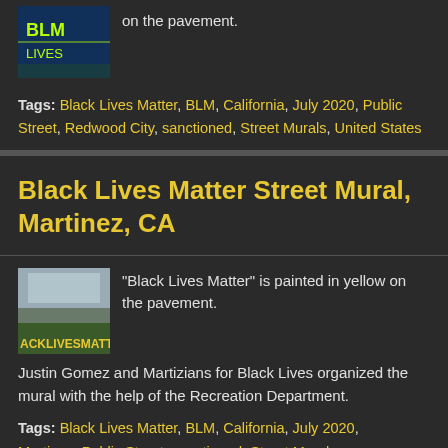[Figure (photo): Thumbnail image showing BLM letters painted on pavement in yellow/green on blue background]
on the pavement.
Tags: Black Lives Matter, BLM, California, July 2020, Public Street, Redwood City, sanctioned, Street Murals, United States
Black Lives Matter Street Mural, Martinez, CA
[Figure (photo): Thumbnail image of Black Lives Matter mural on pavement with yellow letters, labeled ACKLIVESMATT]
"Black Lives Matter" is painted in yellow on the pavement.
Justin Gomez and Martizians for Black Lives organized the mural with the help of the Recreation Department.
Tags: Black Lives Matter, BLM, California, July 2020, Martinez, Public Street, sanctioned, Street Murals,